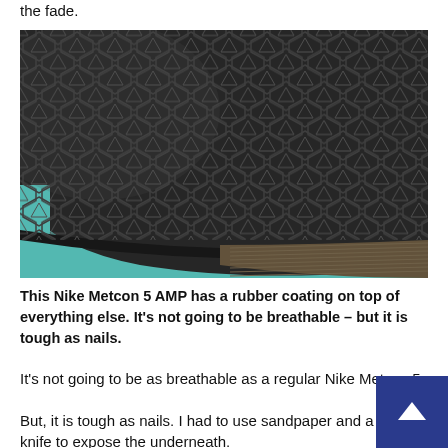the fade.
[Figure (photo): Close-up of the sole of a Nike Metcon 5 AMP shoe, showing a dark textured rubber coating with hexagonal and triangular patterns on top, and a teal/mint colored midsole visible along the bottom and left edge. The lower right shows a brown corrugated midsole layer underneath.]
This Nike Metcon 5 AMP has a rubber coating on top of everything else. It's not going to be breathable – but it is tough as nails.
It's not going to be as breathable as a regular Nike Metcon 5.
But, it is tough as nails. I had to use sandpaper and a butter knife to expose the underneath.